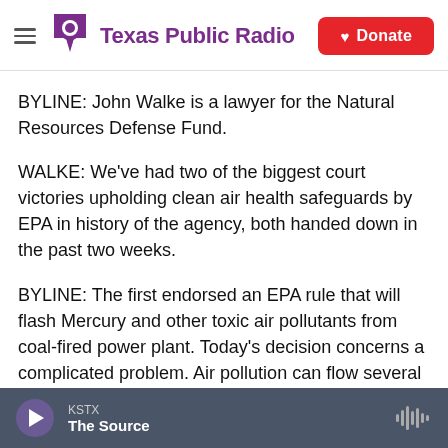Texas Public Radio — Donate
BYLINE: John Walke is a lawyer for the Natural Resources Defense Fund.
WALKE: We've had two of the biggest court victories upholding clean air health safeguards by EPA in history of the agency, both handed down in the past two weeks.
BYLINE: The first endorsed an EPA rule that will flash Mercury and other toxic air pollutants from coal-fired power plant. Today's decision concerns a complicated problem. Air pollution can flow several
KSTX — The Source